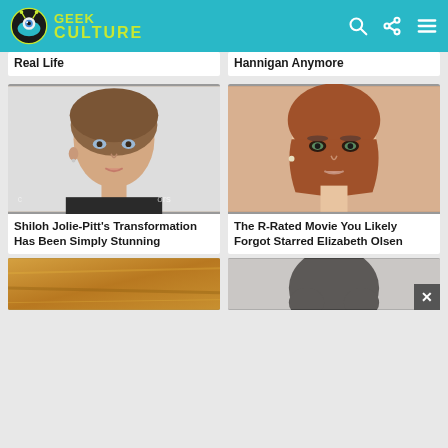Geek Culture
Real Life
Hannigan Anymore
[Figure (photo): Young woman with dark hair pulled back, blue eyes, light makeup, wearing dark top]
[Figure (photo): Woman with auburn hair, green eyes, smoky eye makeup, neutral lip]
Shiloh Jolie-Pitt's Transformation Has Been Simply Stunning
The R-Rated Movie You Likely Forgot Starred Elizabeth Olsen
[Figure (photo): Partial image at bottom left, golden/warm tones]
[Figure (photo): Partial image at bottom right, person with dark curly hair]